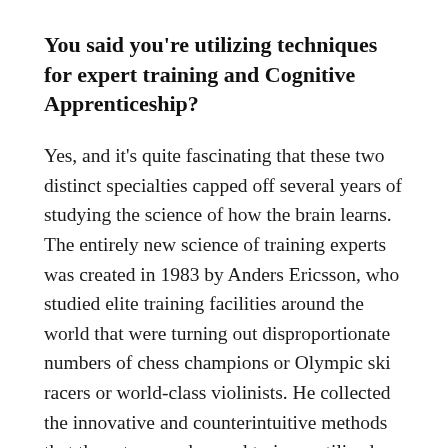You said you're utilizing techniques for expert training and Cognitive Apprenticeship?
Yes, and it's quite fascinating that these two distinct specialties capped off several years of studying the science of how the brain learns. The entirely new science of training experts was created in 1983 by Anders Ericsson, who studied elite training facilities around the world that were turning out disproportionate numbers of chess champions or Olympic ski racers or world-class violinists. He collected the innovative and counterintuitive methods that these top coaches and trainers utilized and studied them scientifically, then improved